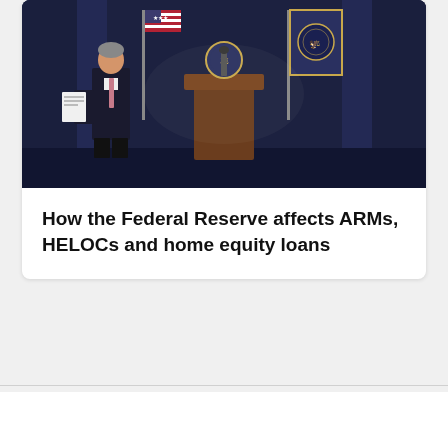[Figure (photo): Photo of a man in a suit holding papers walking toward a podium with US flag and Federal Reserve seal flag in the background, dark blue curtains behind]
How the Federal Reserve affects ARMs, HELOCs and home equity loans
Bankrate
About
Help